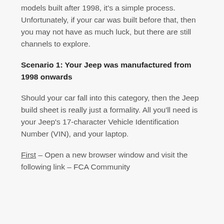models built after 1998, it's a simple process. Unfortunately, if your car was built before that, then you may not have as much luck, but there are still channels to explore.
Scenario 1: Your Jeep was manufactured from 1998 onwards
Should your car fall into this category, then the Jeep build sheet is really just a formality. All you'll need is your Jeep's 17-character Vehicle Identification Number (VIN), and your laptop.
First – Open a new browser window and visit the following link – FCA Community